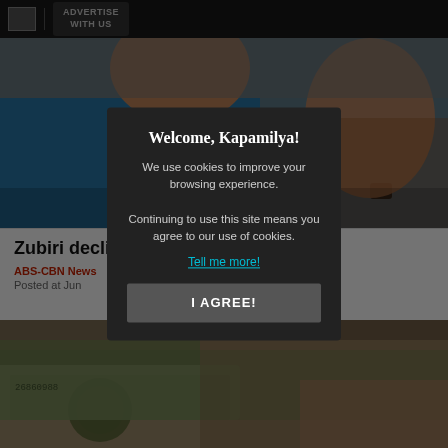ADVERTISE WITH US
[Figure (photo): Blurred photo of a man in a blue polo shirt gesturing with his hands, wearing bracelets and a watch]
Zubiri decli... x liability
ABS-CBN News
Posted at Jun ...
[Figure (photo): Blurred photo of US dollar bills fanned out]
Welcome, Kapamilya!
We use cookies to improve your browsing experience. Continuing to use this site means you agree to our use of cookies.
Tell me more!
I AGREE!